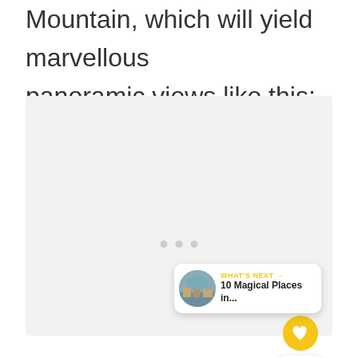Mountain, which will yield marvellous panoramic views like this:
[Figure (photo): Large light gray placeholder image area with loading dots at bottom center, representing a panoramic view photo. Social interaction buttons (heart/like button showing 3.1K and share button) visible on right side. 'What's Next' card overlay at bottom right showing '10 Magical Places in...' with thumbnail.]